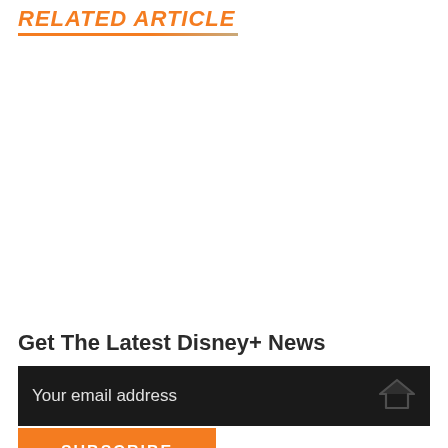RELATED ARTICLE
Get The Latest Disney+ News
Your email address
SUBSCRIBE